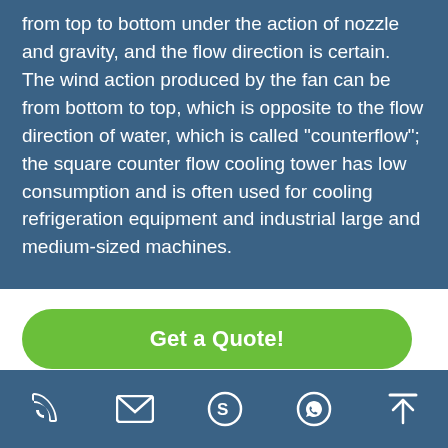from top to bottom under the action of nozzle and gravity, and the flow direction is certain. The wind action produced by the fan can be from bottom to top, which is opposite to the flow direction of water, which is called "counterflow"; the square counter flow cooling tower has low consumption and is often used for cooling refrigeration equipment and industrial large and medium-sized machines.
Get a Quote!
PDF Download
[Figure (other): Footer navigation bar with icons: phone, email, Skype, WhatsApp, and scroll-to-top arrow]